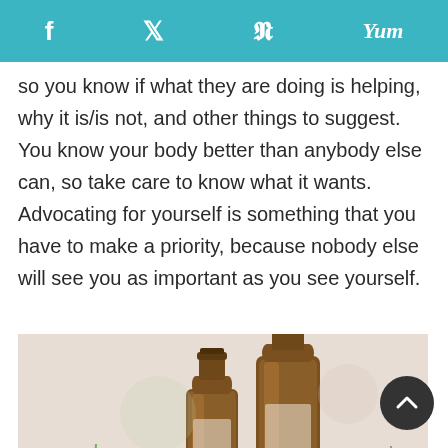f  [twitter]  p  Yum
so you know if what they are doing is helping, why it is/is not, and other things to suggest. You know your body better than anybody else can, so take care to know what it wants. Advocating for yourself is something that you have to make a priority, because nobody else will see you as important as you see yourself.
[Figure (photo): Two amber glass essential oil bottles with open caps, surrounded by purple lavender flowers on a light background.]